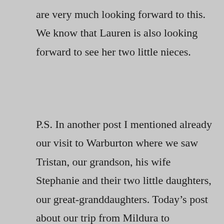are very much looking forward to this. We know that Lauren is also looking forward to see her two little nieces.
P.S. In another post I mentioned already our visit to Warburton where we saw Tristan, our grandson, his wife Stephanie and their two little daughters, our great-granddaughters. Today's post about our trip from Mildura to Melbourne is an afterthought because I hadn't published yet the pictures from that trip and I thought it would be nice to be able to share them. I really enjoyed this trip because everything went so smoothly and the trip didn't take too long. When we travelled back home a week later from Melbourne to